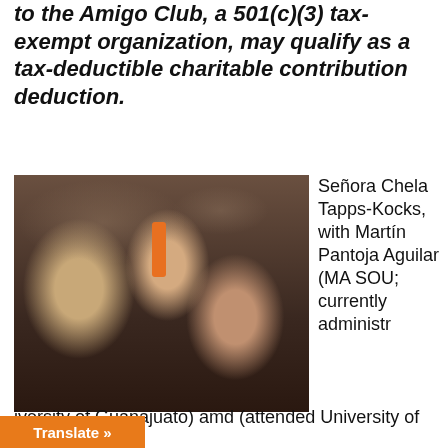to the Amigo Club, a 501(c)(3) tax-exempt organization, may qualify as a tax-deductible charitable contribution deduction.
[Figure (photo): A photo of three people at an event. A woman in a colorful patterned top on the left, a man in a dark suit with an orange tie in the center, and a woman in a floral top seated on the right. Banquet hall setting visible in background.]
Señora Chela Tapps-Kocks, with Martín Pantoja Aguilar (MA SOU; currently administr
iversity of Guanajuato) amd (attended University of